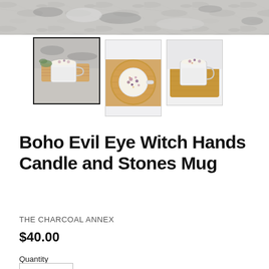[Figure (photo): Main product hero image showing candle mug on granite countertop, cropped at top]
[Figure (photo): Thumbnail 1: Boho Evil Eye Witch Hands Candle Mug on granite surface with decorations, selected/active thumbnail with dark border]
[Figure (photo): Thumbnail 2: Top-down view of candle mug on bamboo wooden plate, tall crop]
[Figure (photo): Thumbnail 3: Candle mug on bamboo wooden cutting board]
Boho Evil Eye Witch Hands Candle and Stones Mug
THE CHARCOAL ANNEX
$40.00
Quantity